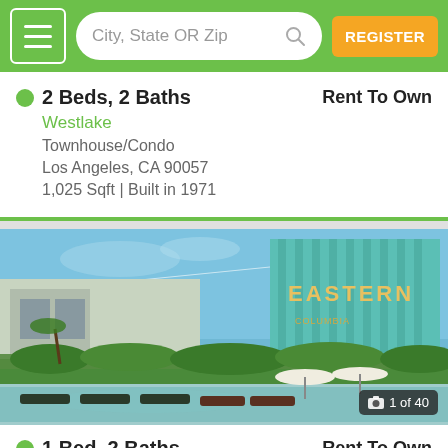City, State OR Zip | REGISTER
2 Beds, 2 Baths — Rent To Own
Westlake
Townhouse/Condo
Los Angeles, CA 90057
1,025 Sqft | Built in 1971
[Figure (photo): Rooftop pool area with lounge chairs and umbrellas, Eastern Columbia Building in background with teal glazed terra cotta facade]
1 Bed, 2 Baths — Rent To Own
Downtown Los Angeles